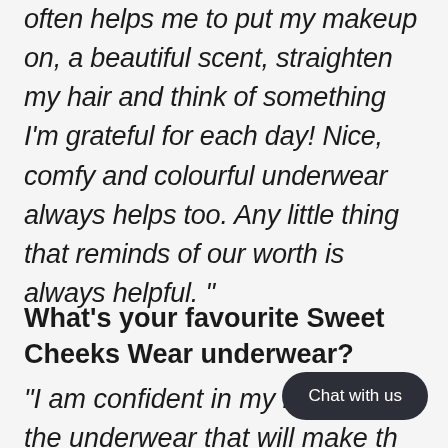often helps me to put my makeup on, a beautiful scent, straighten my hair and think of something I'm grateful for each day! Nice, comfy and colourful underwear always helps too. Any little thing that reminds of our worth is always helpful."
What's your favourite Sweet Cheeks Wear underwear?
"I am confident in my body and the underwear that will make the natural beauty. Comfort for me is also